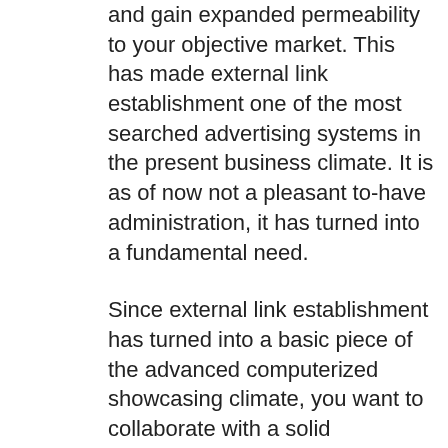and gain expanded permeability to your objective market. This has made external link establishment one of the most searched advertising systems in the present business climate. It is as of now not a pleasant to-have administration, it has turned into a fundamental need.
Since external link establishment has turned into a basic piece of the advanced computerized showcasing climate, you want to collaborate with a solid connection organization to make the most out of the assistance. This is where Perfect Link Building comes in. We offer a far-reaching scope of third-party referencing administrations for organizations in the Leicester metropolitan region. To give our